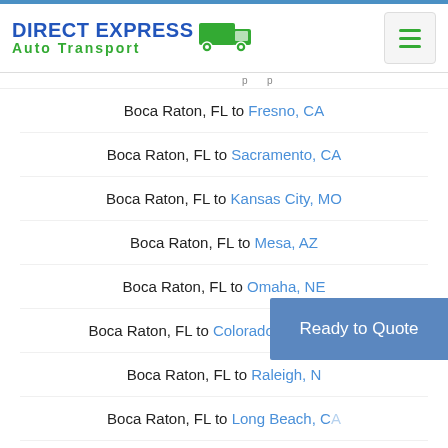DIRECT EXPRESS Auto Transport
Boca Raton, FL to Fresno, CA
Boca Raton, FL to Sacramento, CA
Boca Raton, FL to Kansas City, MO
Boca Raton, FL to Mesa, AZ
Boca Raton, FL to Omaha, NE
Boca Raton, FL to Colorado Springs, CO
Boca Raton, FL to Raleigh, N[C]
Boca Raton, FL to Long Beach, CA
Boca Raton, FL to Virginia Beach, VA